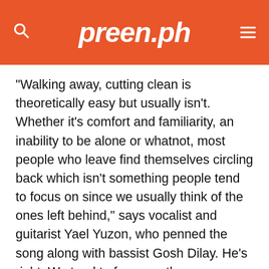preen.ph
“Walking away, cutting clean is theoretically easy but usually isn’t. Whether it’s comfort and familiarity, an inability to be alone or whatnot, most people who leave find themselves circling back which isn’t something people tend to focus on since we usually think of the ones left behind,” says vocalist and guitarist Yael Yuzon, who penned the song along with bassist Gosh Dilay. He’s right: We tend to focus on the person who got dumped and their heartbreak, when being the person to end things can also be just as (or even more) painful.
The minimalist ballad was produced by Joey Santos, who worked on the band’s other singles “Siguro Nga,” “Labis-labis,” and “Alamat.” “Working with Joey Santos has been wonderful. From file sharing over Google…